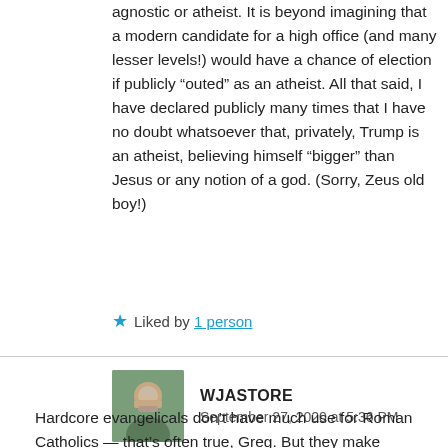agnostic or atheist. It is beyond imagining that a modern candidate for a high office (and many lesser levels!) would have a chance of election if publicly “outed” as an atheist. All that said, I have declared publicly many times that I have no doubt whatsoever that, privately, Trump is an atheist, believing himself “bigger” than Jesus or any notion of a god. (Sorry, Zeus old boy!)
Liked by 1 person
WJASTORE
September 27, 2020 at 5:36 PM
Hardcore evangelicals don’t have much use for Roman Catholics — that’s often true, Greg. But they make common cause when it comes to abortion.